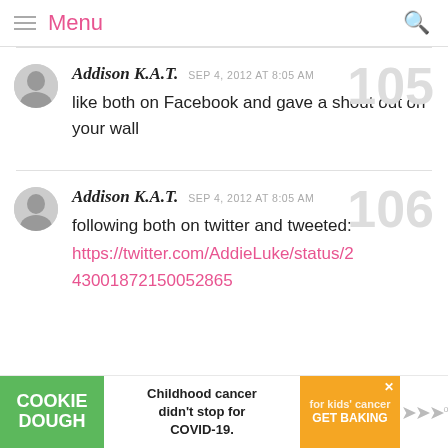Menu
Addison K.A.T.  SEP 4, 2012 AT 8:05 AM
like both on Facebook and gave a shout out on your wall
[#105]
Addison K.A.T.  SEP 4, 2012 AT 8:05 AM
following both on twitter and tweeted:
https://twitter.com/AddieLuke/status/243001872150052865
[#106]
[Figure (infographic): Advertisement banner: Cookie Dough brand ad for Cookies for Kids Cancer. Text reads 'Childhood cancer didn't stop for COVID-19. GET BAKING']